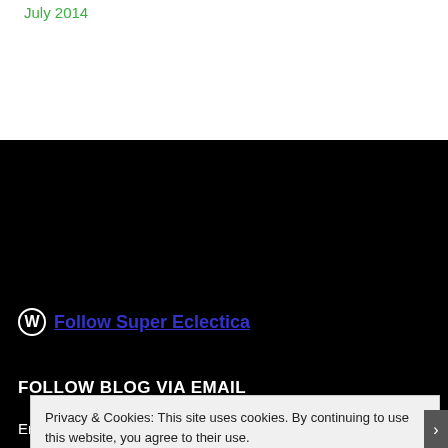July 2014
Follow Super Eclectica
FOLLOW BLOG VIA EMAIL
Enter your email address to follow this blog and receive notifications of new posts by email.
Enter your email address
Privacy & Cookies: This site uses cookies. By continuing to use this website, you agree to their use.
To find out more, including how to control cookies, see here: Cookie Policy
Close and accept